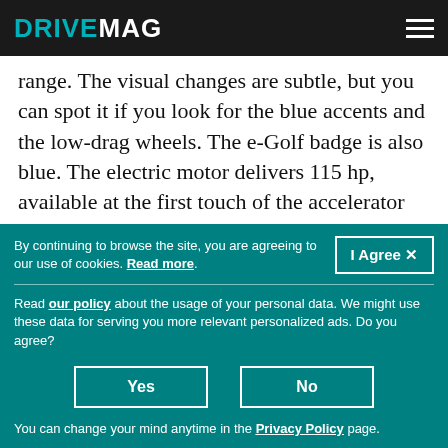DRIVEMAG
range. The visual changes are subtle, but you can spot it if you look for the blue accents and the low-drag wheels. The e-Golf badge is also blue. The electric motor delivers 115 hp, available at the first touch of the accelerator
By continuing to browse the site, you are agreeing to our use of cookies. Read more.
Read our policy about the usage of your personal data. We might use these data for serving you more relevant personalized ads. Do you agree?
Yes
No
You can change your mind anytime in the Privacy Policy page.